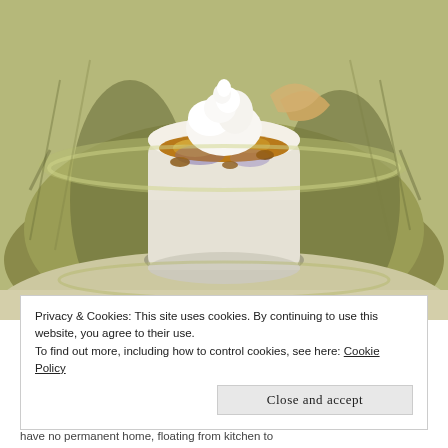[Figure (photo): A white ceramic ramekin filled with a dessert topped with whipped cream, sitting inside a green textured glass bowl, on a light surface.]
Privacy & Cookies: This site uses cookies. By continuing to use this website, you agree to their use.
To find out more, including how to control cookies, see here: Cookie Policy
Close and accept
have no permanent home, floating from kitchen to